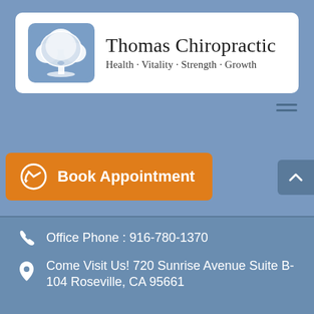[Figure (logo): Thomas Chiropractic logo with tree icon, name and tagline Health · Vitality · Strength · Growth]
[Figure (other): Hamburger menu icon (three horizontal lines)]
[Figure (other): Orange Book Appointment button with clock/calendar icon]
[Figure (other): Grey scroll-up arrow button]
Office Phone : 916-780-1370
Come Visit Us! 720 Sunrise Avenue Suite B-104 Roseville, CA 95661